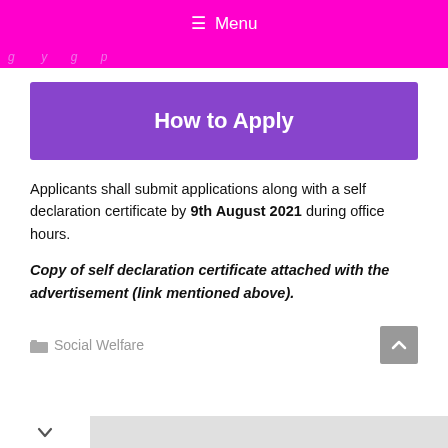Menu
g y g p
How to Apply
Applicants shall submit applications along with a self declaration certificate by 9th August 2021 during office hours.
Copy of self declaration certificate attached with the advertisement (link mentioned above).
Social Welfare